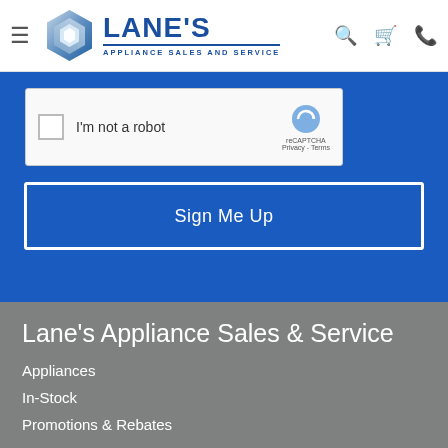[Figure (logo): Lane's Appliance Sales and Service logo with hexagonal icon and blue text]
[Figure (screenshot): reCAPTCHA widget with 'I'm not a robot' checkbox, reCAPTCHA logo, Privacy and Terms links]
Sign Me Up
Lane's Appliance Sales & Service
Appliances
In-Stock
Promotions & Rebates